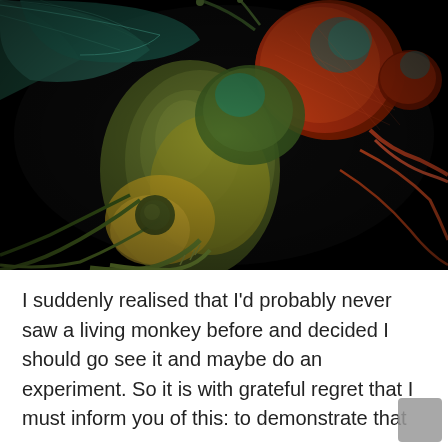[Figure (photo): Extreme close-up macro/SEM photograph of a fly or similar insect, colorized in teal, green, orange, and red tones against a black background. The compound eye is prominent orange-red on the upper right, with detailed body segments, legs, and wing structures visible.]
I suddenly realised that I'd probably never saw a living monkey before and decided I should go see it and maybe do an experiment. So it is with grateful regret that I must inform you of this: to demonstrate that